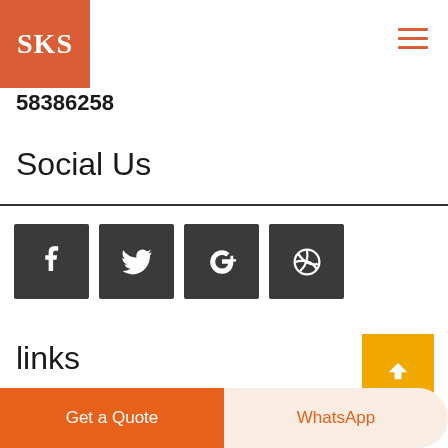SKS
58386258
Social Us
[Figure (other): Row of four dark square social media icon buttons: Facebook (f), Twitter (bird), Google+ (g+), Dribbble (ball)]
links
Get a Quote
WhatsApp